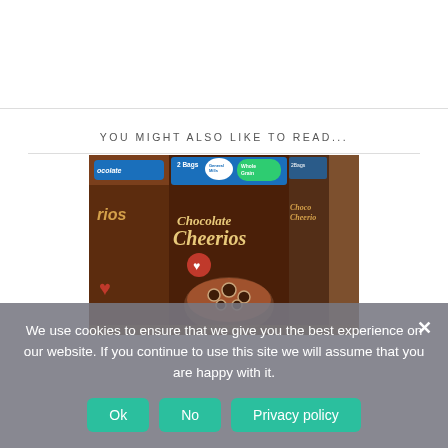YOU MIGHT ALSO LIKE TO READ...
[Figure (photo): Multiple boxes of Chocolate Cheerios cereal on a store shelf, showing '2 Bags' and 'Whole Grain Guaranteed' labels on the packaging.]
We use cookies to ensure that we give you the best experience on our website. If you continue to use this site we will assume that you are happy with it.